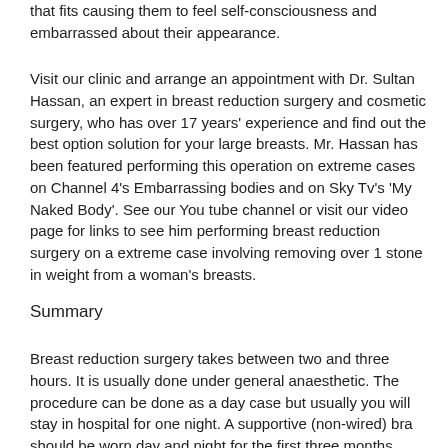that fits causing them to feel self-consciousness and embarrassed about their appearance.
Visit our clinic and arrange an appointment with Dr. Sultan Hassan, an expert in breast reduction surgery and cosmetic surgery, who has over 17 years' experience and find out the best option solution for your large breasts. Mr. Hassan has been featured performing this operation on extreme cases on Channel 4's Embarrassing bodies and on Sky Tv's 'My Naked Body'. See our You tube channel or visit our video page for links to see him performing breast reduction surgery on a extreme case involving removing over 1 stone in weight from a woman's breasts.
Summary
Breast reduction surgery takes between two and three hours. It is usually done under general anaesthetic. The procedure can be done as a day case but usually you will stay in hospital for one night. A supportive (non-wired) bra should be worn day and night for the first three months